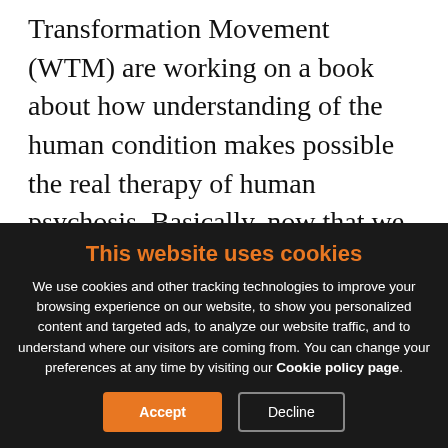Transformation Movement (WTM) are working on a book about how understanding of the human condition makes possible the real therapy of human psychosis. Basically, now that we can understand the origins of the human race’s psychologically upset or corrupted condition (the ‘instinct vs intellect’ clash—see FAQ 1.3), we are, for the first time ever, in a position to explore human psychosis from the safety of this foundational insight into the overall psychosis in
This website uses cookies
We use cookies and other tracking technologies to improve your browsing experience on our website, to show you personalized content and targeted ads, to analyze our website traffic, and to understand where our visitors are coming from. You can change your preferences at any time by visiting our Cookie policy page.